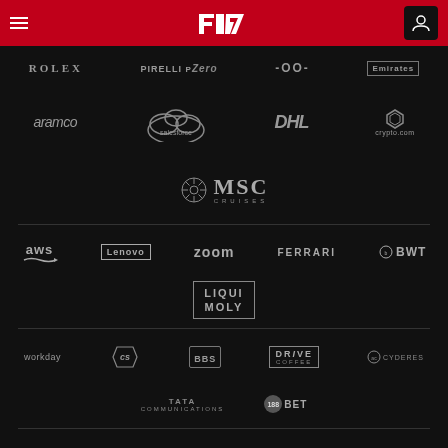[Figure (screenshot): F1 website navigation bar with hamburger menu, F1 logo, and user account icon on red background]
[Figure (logo): Sponsor logos row 1: ROLEX, PIRELLI P Zero, -OO- (TAG Heuer), Emirates]
[Figure (logo): Sponsor logos row 2: aramco, salesforce, DHL, crypto.com]
[Figure (logo): Sponsor logo: MSC Cruises]
[Figure (logo): Official partner logos: aws, Lenovo, zoom, FERRARI, BWT]
[Figure (logo): Official partner logo: LIQUI MOLY]
[Figure (logo): Partner logos: workday, Crypto Audi (CS), BBS Motorsport, DRIVE COFFEE, CYDERES]
[Figure (logo): Partner logos: TATA COMMUNICATIONS, 188BET]